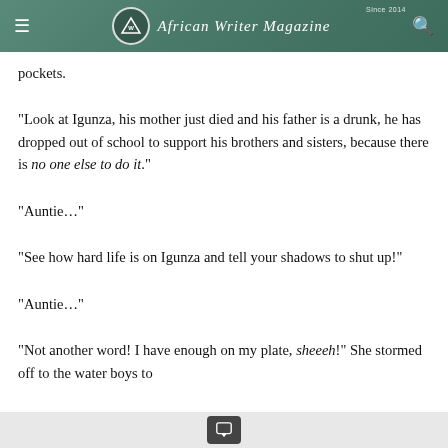African Writer Magazine — Since 2014
pockets.
“Look at Igunza, his mother just died and his father is a drunk, he has dropped out of school to support his brothers and sisters, because there is no one else to do it.”
“Auntie…”
“See how hard life is on Igunza and tell your shadows to shut up!”
“Auntie…”
“Not another word! I have enough on my plate, sheeeh!” She stormed off to the water boys to